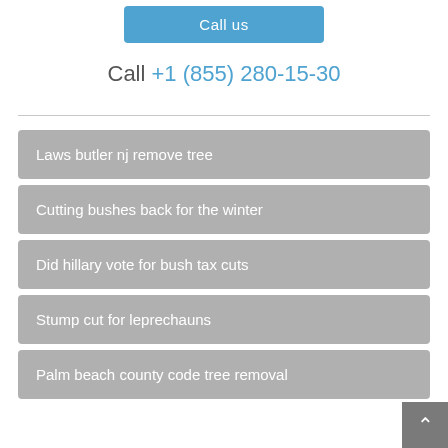[Figure (other): Blue 'Call us' button]
Call +1 (855) 280-15-30
Laws butler nj remove tree
Cutting bushes back for the winter
Did hillary vote for bush tax cuts
Stump cut for leprechauns
Palm beach county code tree removal